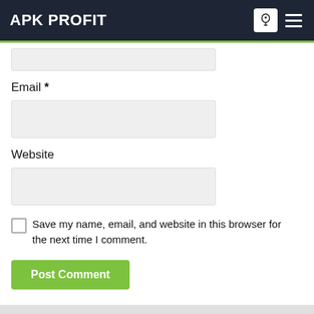APK PROFIT
[Figure (screenshot): Input field (top, partially visible) for a comment form]
Email *
[Figure (screenshot): Email input field (empty, light gray background)]
Website
[Figure (screenshot): Website input field (empty, light gray background)]
Save my name, email, and website in this browser for the next time I comment.
Post Comment
Search